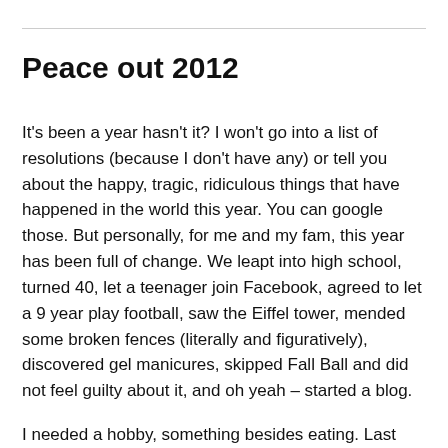Peace out 2012
It's been a year hasn't it?  I won't go into a list of resolutions (because I don't have any) or  tell you about the happy, tragic, ridiculous things that have happened in the world this year.  You can google those.  But personally, for me and my fam, this year has been full of change. We leapt into high school, turned 40, let a teenager join Facebook, agreed to let a 9 year play football, saw the Eiffel tower, mended some broken fences (literally and figuratively), discovered gel manicures, skipped Fall Ball and did not feel guilty about it, and oh yeah – started a blog.
I  needed a hobby, something besides eating. Last year,